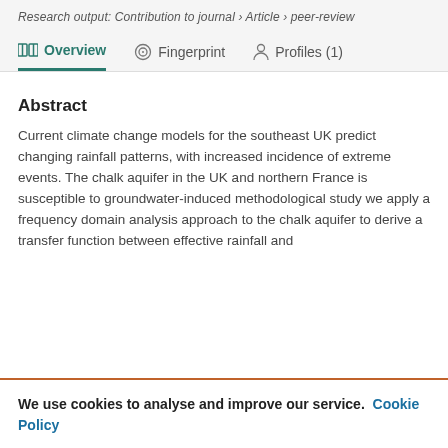Research output: Contribution to journal › Article › peer-review
Overview   Fingerprint   Profiles (1)
Abstract
Current climate change models for the southeast UK predict changing rainfall patterns, with increased incidence of extreme events. The chalk aquifer in the UK and northern France is susceptible to groundwater-induced methodological study we apply a frequency domain analysis approach to the chalk aquifer to derive a transfer function between effective rainfall and
We use cookies to analyse and improve our service. Cookie Policy